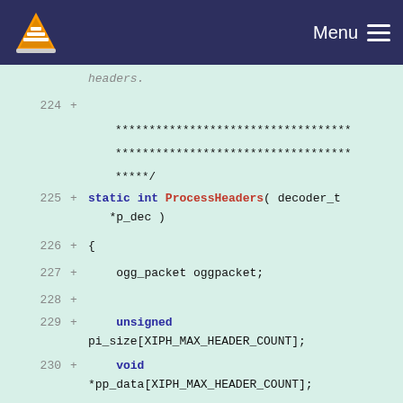VLC Menu
Code diff view showing lines 224-235 of a C source file with ProcessHeaders function definition
[Figure (screenshot): Code diff screenshot showing VLC media player source code with added lines (marked with +) for a static int ProcessHeaders function including declarations for ogg_packet, unsigned pi_size, void *pp_data, unsigned i_count, int ret, and an if statement calling xiph_SplitHeaders]